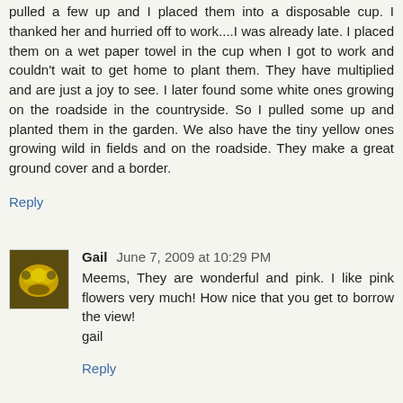pulled a few up and I placed them into a disposable cup. I thanked her and hurried off to work....I was already late. I placed them on a wet paper towel in the cup when I got to work and couldn't wait to get home to plant them. They have multiplied and are just a joy to see. I later found some white ones growing on the roadside in the countryside. So I pulled some up and planted them in the garden. We also have the tiny yellow ones growing wild in fields and on the roadside. They make a great ground cover and a border.
Reply
Gail  June 7, 2009 at 10:29 PM
Meems, They are wonderful and pink. I like pink flowers very much! How nice that you get to borrow the view!
gail
Reply
Island Rider  June 7, 2009 at 11:46 PM
Whatever happened to the peacocks? Are they gone?